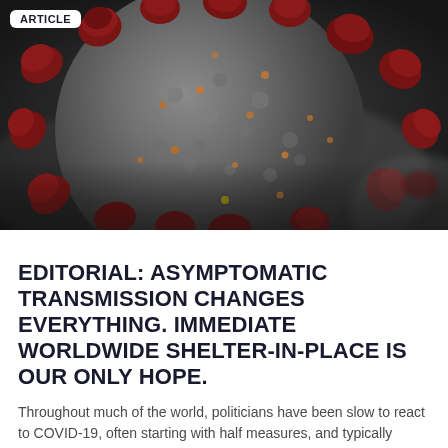ARTICLE
[Figure (photo): Close-up microscopic rendering of a coronavirus particle (SARS-CoV-2) showing grey spherical body with dark red spike proteins protruding from its surface, with smaller orange/brown dots scattered across the surface. Dark blurred background.]
EDITORIAL: ASYMPTOMATIC TRANSMISSION CHANGES EVERYTHING. IMMEDIATE WORLDWIDE SHELTER-IN-PLACE IS OUR ONLY HOPE.
Throughout much of the world, politicians have been slow to react to COVID-19, often starting with half measures, and typically getting to the drastic measures